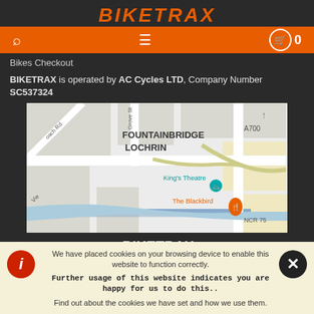BIKETRAX
Bikes Checkout
BIKETRAX is operated by AC Cycles LTD, Company Number SC537324
[Figure (map): Street map showing Fountainbridge Lochrin area in Edinburgh, with King's Theatre and The Blackbird marked, NCR 75 path visible]
BIKETRAX
2 Fountainbridge Square
We have placed cookies on your browsing device to enable this website to function correctly. Further usage of this website indicates you are happy for us to do this.. Find out about the cookies we have set and how we use them.